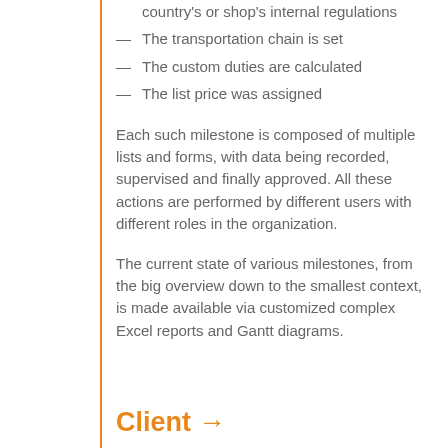country's or shop's internal regulations
The transportation chain is set
The custom duties are calculated
The list price was assigned
Each such milestone is composed of multiple lists and forms, with data being recorded, supervised and finally approved. All these actions are performed by different users with different roles in the organization.
The current state of various milestones, from the big overview down to the smallest context, is made available via customized complex Excel reports and Gantt diagrams.
Client →